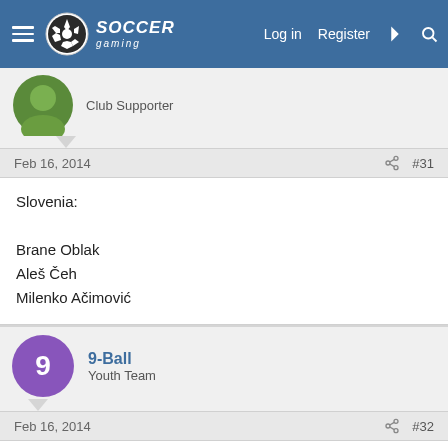Soccer Gaming — Log in | Register
Club Supporter
Feb 16, 2014  #31
Slovenia:

Brane Oblak
Aleš &#268;eh
Milenko A&#269;imovi&#263;
9-Ball
Youth Team
Feb 16, 2014  #32
Thanks Sebo. Oblak already in. Moved to Slovenia from Serbia, since I had him as Yugoslavian, given his era.
9-Ball